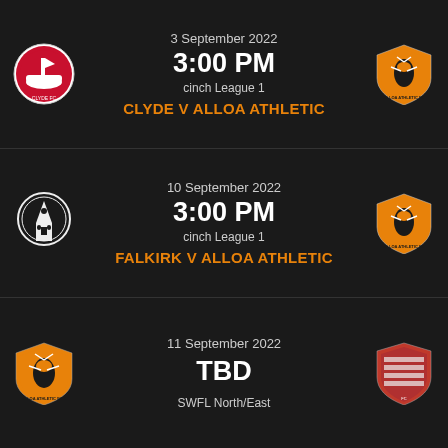3 September 2022
3:00 PM
cinch League 1
CLYDE V ALLOA ATHLETIC
10 September 2022
3:00 PM
cinch League 1
FALKIRK V ALLOA ATHLETIC
11 September 2022
TBD
SWFL North/East